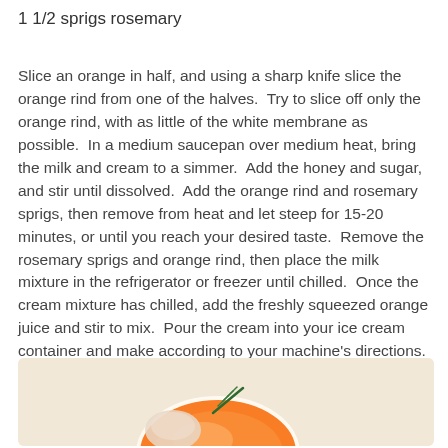1 1/2 sprigs rosemary
Slice an orange in half, and using a sharp knife slice the orange rind from one of the halves.  Try to slice off only the orange rind, with as little of the white membrane as possible.  In a medium saucepan over medium heat, bring the milk and cream to a simmer.  Add the honey and sugar, and stir until dissolved.  Add the orange rind and rosemary sprigs, then remove from heat and let steep for 15-20 minutes, or until you reach your desired taste.  Remove the rosemary sprigs and orange rind, then place the milk mixture in the refrigerator or freezer until chilled.  Once the cream mixture has chilled, add the freshly squeezed orange juice and stir to mix.  Pour the cream into your ice cream container and make according to your machine's directions.  Then, place the ice cream in a container, cover, and put in the freezer until firm.  Serve and enjoy!
[Figure (photo): Photo of an orange slice with rosemary and an ice cream scoop on a light beige/cream background]